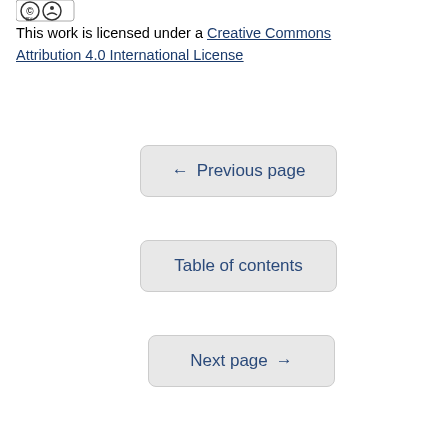[Figure (logo): Creative Commons BY license logo badge]
This work is licensed under a Creative Commons Attribution 4.0 International License
← Previous page
Table of contents
Next page →